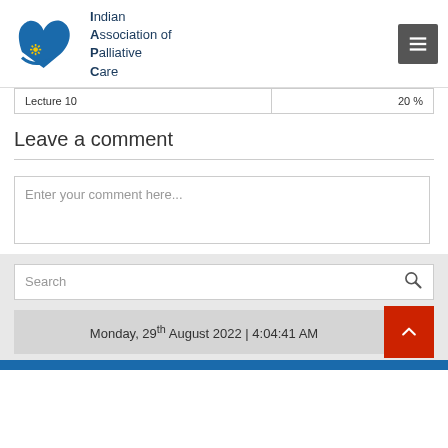Indian Association of Palliative Care
|  |  |
| --- | --- |
| Lecture 10 | 20 % |
Leave a comment
Enter your comment here...
Search
Monday, 29th August 2022 | 4:04:41 AM